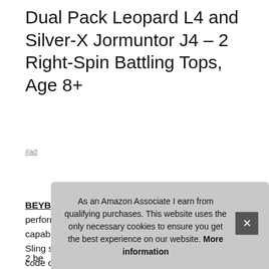Dual Pack Leopard L4 and Silver-X Jormuntor J4 – 2 Right-Spin Battling Tops, Age 8+
#ad
BEYBLADE #ad - Subject to availability. Slingshock performance tips: performance tips with rail-riding capabilities convert between Battle Ring Mode and Sling shock Mode. Compete in digital battles: scan code on Beyblade Burst tops' Energy Layers to unleash the tops in the Beyblade Burst app 2 be... beyl... atta... balance type.
As an Amazon Associate I earn from qualifying purchases. This website uses the only necessary cookies to ensure you get the best experience on our website. More information